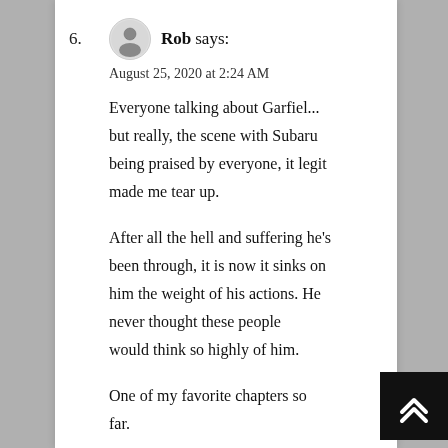6. Rob says:
August 25, 2020 at 2:24 AM
Everyone talking about Garfiel... but really, the scene with Subaru being praised by everyone, it legit made me tear up.
After all the hell and suffering he's been through, it is now it sinks on him the weight of his actions. He never thought these people would think so highly of him.
One of my favorite chapters so far.